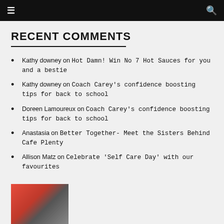≡   🔍
RECENT COMMENTS
Kathy downey on Hot Damn! Win No 7 Hot Sauces for you and a bestie
Kathy downey on Coach Carey's confidence boosting tips for back to school
Doreen Lamoureux on Coach Carey's confidence boosting tips for back to school
Anastasia on Better Together- Meet the Sisters Behind Cafe Plenty
Allison Matz on Celebrate 'Self Care Day' with our favourites
[Figure (photo): Partial photo of a person at bottom left of page]